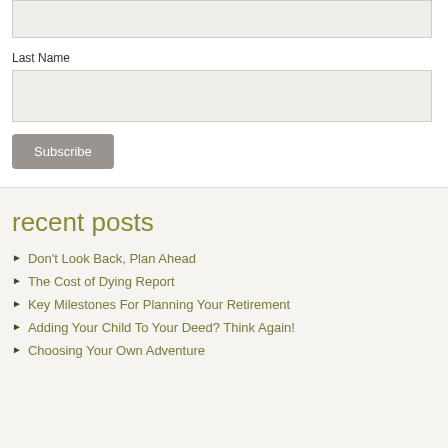Last Name
Subscribe
recent posts
Don't Look Back, Plan Ahead
The Cost of Dying Report
Key Milestones For Planning Your Retirement
Adding Your Child To Your Deed? Think Again!
Choosing Your Own Adventure